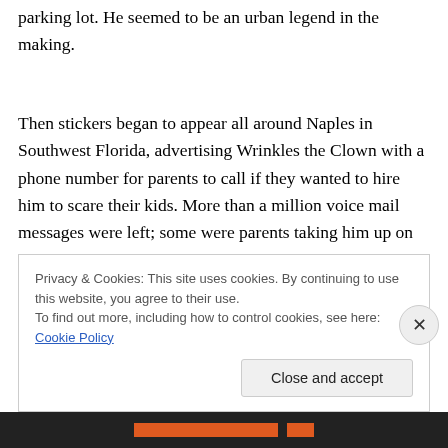parking lot. He seemed to be an urban legend in the making.
Then stickers began to appear all around Naples in Southwest Florida, advertising Wrinkles the Clown with a phone number for parents to call if they wanted to hire him to scare their kids. More than a million voice mail messages were left; some were parents taking him up on
Privacy & Cookies: This site uses cookies. By continuing to use this website, you agree to their use.
To find out more, including how to control cookies, see here: Cookie Policy
Close and accept